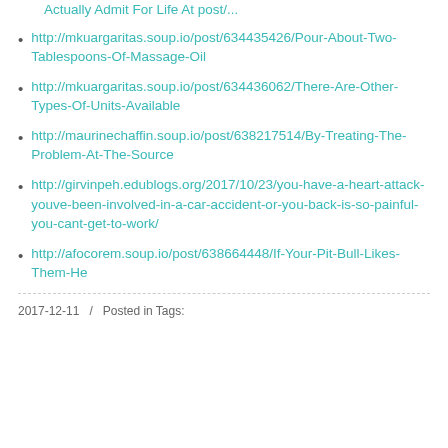http://mkuargaritas.soup.io/post/634435426/Pour-About-Two-Tablespoons-Of-Massage-Oil
http://mkuargaritas.soup.io/post/634436062/There-Are-Other-Types-Of-Units-Available
http://maurinechaffin.soup.io/post/638217514/By-Treating-The-Problem-At-The-Source
http://girvinpeh.edublogs.org/2017/10/23/you-have-a-heart-attack-youve-been-involved-in-a-car-accident-or-you-back-is-so-painful-you-cant-get-to-work/
http://afocorem.soup.io/post/638664448/If-Your-Pit-Bull-Likes-Them-He
2017-12-11   /   Posted in Tags: